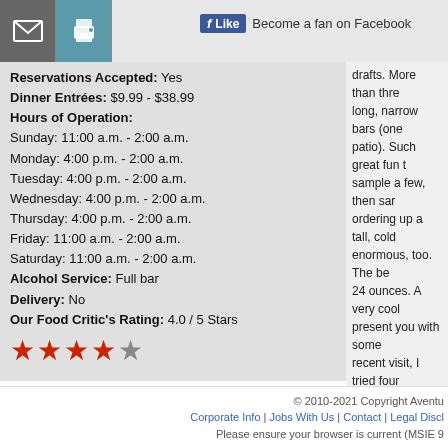[Figure (other): Top navigation bar with email icon, print icon, and Facebook Like button with text 'Become a fan on Facebook']
Reservations Accepted: Yes
Dinner Entrées: $9.99 - $38.99
Hours of Operation:
Sunday: 11:00 a.m. - 2:00 a.m.
Monday: 4:00 p.m. - 2:00 a.m.
Tuesday: 4:00 p.m. - 2:00 a.m.
Wednesday: 4:00 p.m. - 2:00 a.m.
Thursday: 4:00 p.m. - 2:00 a.m.
Friday: 11:00 a.m. - 2:00 a.m.
Saturday: 11:00 a.m. - 2:00 a.m.
Alcohol Service: Full bar
Delivery: No
Our Food Critic's Rating: 4.0 / 5 Stars
[Figure (other): 4 filled red stars and 1 empty gray star representing a 4.0/5 star rating]
drafts. More than three long, narrow bars (one patio). Such great fun t sample a few, then sam ordering up a tall, cold enormous, too. The be 24 ounces. A very cool present you with some recent visit, I tried four glasses before settling from Vermont. Prime B over (the U.S., England Mexico, Ireland, and G wrong with the signatu 'Primebar Burger' and the goat cheese, arugu onions, pickles, and br The barbecue burger is anxious to try Prime Ba topped with a gorgonzo I've heard raves. Frien
- Written by Anne Mag February 1, 2011
© 2010-2021 Copyright Aventu Corporate Info | Jobs With Us | Contact | Legal Discl Please ensure your browser is current (MSIE 9